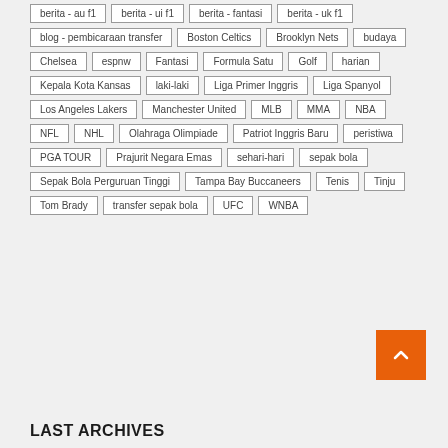berita - au f1
berita - ui f1
berita - fantasi
berita - uk f1
blog - pembicaraan transfer
Boston Celtics
Brooklyn Nets
budaya
Chelsea
espnw
Fantasi
Formula Satu
Golf
harian
Kepala Kota Kansas
laki-laki
Liga Primer Inggris
Liga Spanyol
Los Angeles Lakers
Manchester United
MLB
MMA
NBA
NFL
NHL
Olahraga Olimpiade
Patriot Inggris Baru
peristiwa
PGA TOUR
Prajurit Negara Emas
sehari-hari
sepak bola
Sepak Bola Perguruan Tinggi
Tampa Bay Buccaneers
Tenis
Tinju
Tom Brady
transfer sepak bola
UFC
WNBA
LAST ARCHIVES